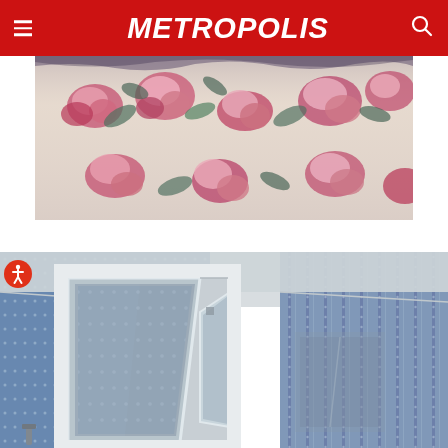METROPOLIS
[Figure (photo): Close-up photo of floral fabric with pink, red, and blue flowers on white background, slightly wrinkled/draped]
[Figure (photo): Interior room photo with blue dotted/striped wallpaper, white door frame with mirrored door open at an angle, reflecting the wallpaper pattern]